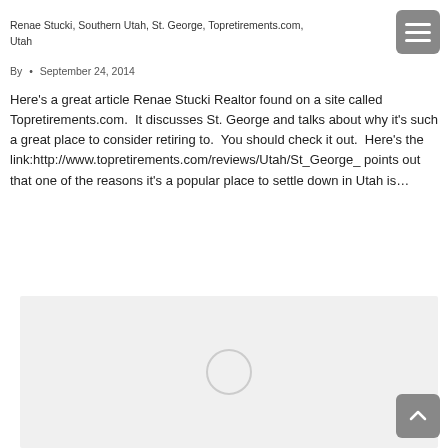Renae Stucki, Southern Utah, St. George, Topretirements.com, Utah
By • September 24, 2014
Here's a great article Renae Stucki Realtor found on a site called Topretirements.com.  It discusses St. George and talks about why it's such a great place to consider retiring to.  You should check it out.  Here's the link:http://www.topretirements.com/reviews/Utah/St_George_ points out that one of the reasons it's a popular place to settle down in Utah is…
[Figure (other): Loading image placeholder with spinner circle on gray background]